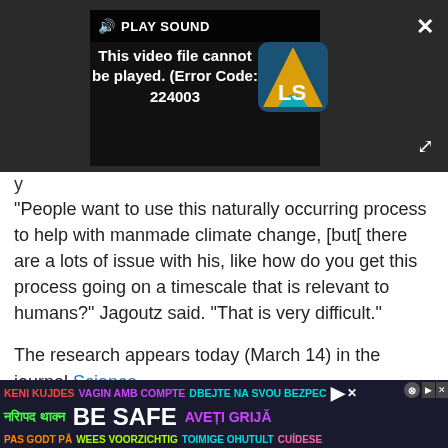[Figure (screenshot): Video player showing error: 'This video file cannot be played. (Error Code: 224003)' with PLAY SOUND bar, LS logo, close button, and expand button on dark background]
y
"People want to use this naturally occurring process to help with manmade climate change, [but[ there are a lots of issue with his, like how do you get this process going on a timescale that is relevant to humans?" Jagoutz said. "That is very difficult."
The research appears today (March 14) in the journal Science.
Advertisement
KENI KUJDES VAGIN AMB COMPTE DBEJTE NA SVOU BEZPEC नरिापद थाक्न BE SAFE AVEȚI GRIJĂ PAS GODT PÅ WEES VOORZICHTIG TOIMIGE OHUTULT CUÍDESE